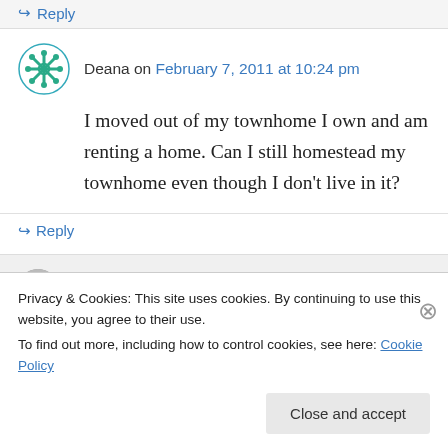↪ Reply
Deana on February 7, 2011 at 10:24 pm
I moved out of my townhome I own and am renting a home. Can I still homestead my townhome even though I don't live in it?
↪ Reply
Sherri Johnson on February 10, 2011 at 1:39
Privacy & Cookies: This site uses cookies. By continuing to use this website, you agree to their use.
To find out more, including how to control cookies, see here: Cookie Policy
Close and accept